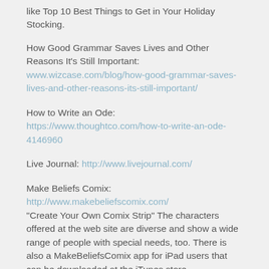like Top 10 Best Things to Get in Your Holiday Stocking.
How Good Grammar Saves Lives and Other Reasons It's Still Important: www.wizcase.com/blog/how-good-grammar-saves-lives-and-other-reasons-its-still-important/
How to Write an Ode: https://www.thoughtco.com/how-to-write-an-ode-4146960
Live Journal: http://www.livejournal.com/
Make Beliefs Comix: http://www.makebeliefscomix.com/ "Create Your Own Comix Strip" The characters offered at the web site are diverse and show a wide range of people with special needs, too. There is also a MakeBeliefsComix app for iPad users that can be downloaded at the iTunes store.